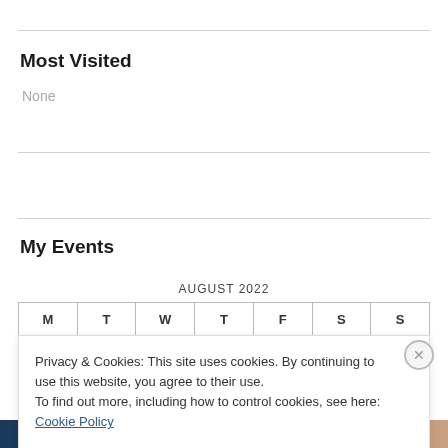Most Visited
None
My Events
AUGUST 2022
| M | T | W | T | F | S | S |
| --- | --- | --- | --- | --- | --- | --- |
Privacy & Cookies: This site uses cookies. By continuing to use this website, you agree to their use.
To find out more, including how to control cookies, see here: Cookie Policy
Close and accept